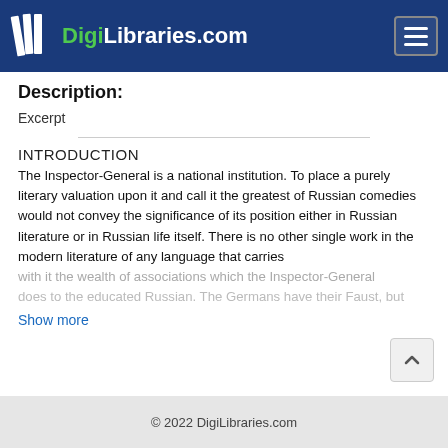DigiLibraries.com
Description:
Excerpt
INTRODUCTION
The Inspector-General is a national institution. To place a purely literary valuation upon it and call it the greatest of Russian comedies would not convey the significance of its position either in Russian literature or in Russian life itself. There is no other single work in the modern literature of any language that carries with it the wealth of associations which the Inspector-General does to the educated Russian. The Germans have their Faust, but
Show more
© 2022 DigiLibraries.com